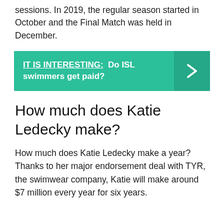sessions. In 2019, the regular season started in October and the Final Match was held in December.
[Figure (infographic): Teal banner with text 'IT IS INTERESTING: Do ISL swimmers get paid?' and a right-arrow chevron on the right side.]
How much does Katie Ledecky make?
How much does Katie Ledecky make a year? Thanks to her major endorsement deal with TYR, the swimwear company, Katie will make around $7 million every year for six years.